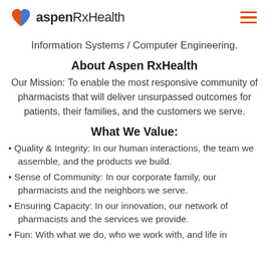aspen RxHealth
Information Systems / Computer Engineering.
About Aspen RxHealth
Our Mission: To enable the most responsive community of pharmacists that will deliver unsurpassed outcomes for patients, their families, and the customers we serve.
What We Value:
Quality & Integrity: In our human interactions, the team we assemble, and the products we build.
Sense of Community: In our corporate family, our pharmacists and the neighbors we serve.
Ensuring Capacity: In our innovation, our network of pharmacists and the services we provide.
Fun: With what we do, who we work with, and life in